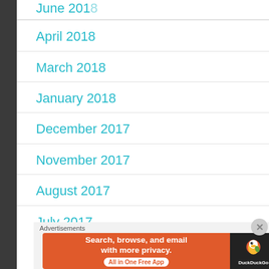June 2018 (partial, top of page)
April 2018
March 2018
January 2018
December 2017
November 2017
August 2017
July 2017 (partial, bottom of page)
[Figure (screenshot): Advertisement banner for DuckDuckGo app. Orange left panel: 'Search, browse, and email with more privacy. All in One Free App'. Dark right panel: DuckDuckGo duck logo and 'DuckDuckGo' text.]